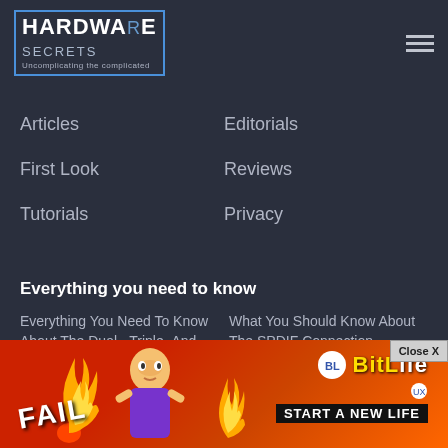[Figure (logo): Hardware Secrets logo with blue border, text 'HARDWARE secrets Uncomplicating the complicated']
Articles
Editorials
First Look
Reviews
Tutorials
Privacy
Everything you need to know
Everything You Need To Know About The Dual-, Triple-, And Quad-Channel Memory
What You Should Know About The SPDIF Connection
[Figure (other): BitLife advertisement banner with FAIL text, cartoon character, flames, and 'START A NEW LIFE' tagline. Close X button in top right.]